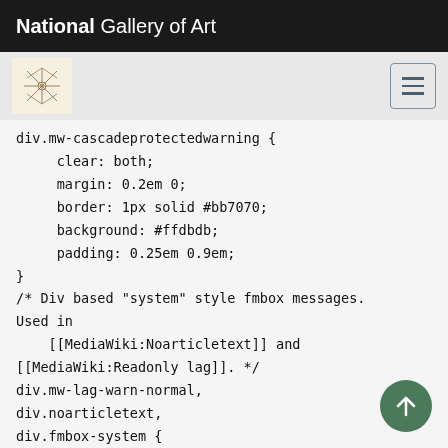National Gallery of Art
[Figure (screenshot): Navigation bar with art icon logo and hamburger menu button]
div.mw-cascadeprotectedwarning {
    clear: both;
    margin: 0.2em 0;
    border: 1px solid #bb7070;
    background: #ffdbdb;
    padding: 0.25em 0.9em;
}
/* Div based "system" style fmbox messages.
Used in
    [[MediaWiki:Noarticletext]] and
[[MediaWiki:Readonly lag]]. */
div.mw-lag-warn-normal,
div.noarticletext,
div.fmbox-system {
    clear: both;
    margin: 0.2em 0;
    border: 1px solid #aaa;